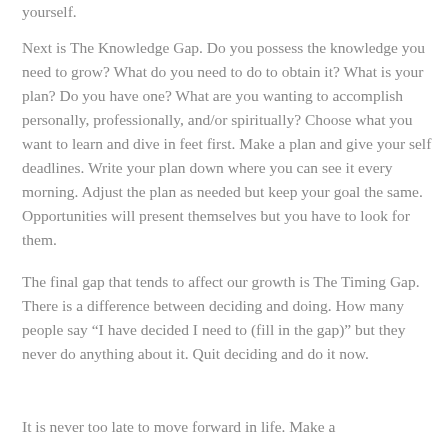yourself.
Next is The Knowledge Gap. Do you possess the knowledge you need to grow? What do you need to do to obtain it? What is your plan? Do you have one? What are you wanting to accomplish personally, professionally, and/or spiritually? Choose what you want to learn and dive in feet first. Make a plan and give your self deadlines. Write your plan down where you can see it every morning. Adjust the plan as needed but keep your goal the same. Opportunities will present themselves but you have to look for them.
The final gap that tends to affect our growth is The Timing Gap. There is a difference between deciding and doing. How many people say “I have decided I need to (fill in the gap)” but they never do anything about it. Quit deciding and do it now.
It is never too late to move forward in life. Make a